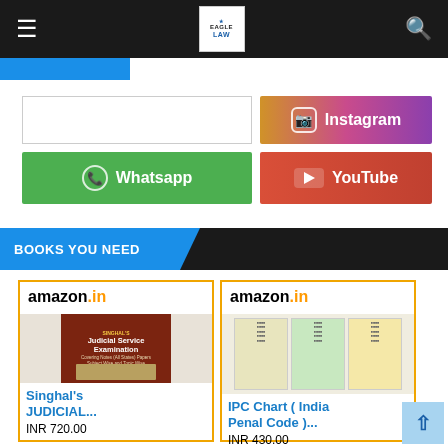Navigation bar with logo, hamburger menu, and search icon
[Figure (screenshot): Instagram social media button with gradient background]
[Figure (screenshot): Whatsapp social media button with green background]
[Figure (screenshot): YouTube social media button with red gradient background]
BOOKS YOU NEED
[Figure (photo): Amazon.in product card for Singhal's JUDICIAL... book, INR 720.00]
[Figure (photo): Amazon.in product card for IPC Chart (India Penal Code)..., INR 430.00]
Singhal's JUDICIAL...
INR 720.00
IPC Chart ( India Penal Code )...
INR 430.00